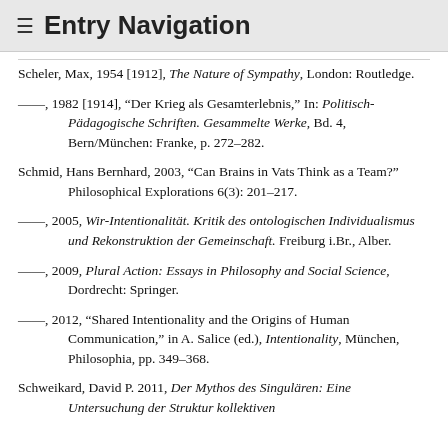≡ Entry Navigation
Scheler, Max, 1954 [1912], The Nature of Sympathy, London: Routledge.
–––, 1982 [1914], "Der Krieg als Gesamterlebnis," In: Politisch-Pädagogische Schriften. Gesammelte Werke, Bd. 4, Bern/München: Franke, p. 272–282.
Schmid, Hans Bernhard, 2003, "Can Brains in Vats Think as a Team?" Philosophical Explorations 6(3): 201–217.
–––, 2005, Wir-Intentionalität. Kritik des ontologischen Individualismus und Rekonstruktion der Gemeinschaft. Freiburg i.Br., Alber.
–––, 2009, Plural Action: Essays in Philosophy and Social Science, Dordrecht: Springer.
–––, 2012, "Shared Intentionality and the Origins of Human Communication," in A. Salice (ed.), Intentionality, München, Philosophia, pp. 349–368.
Schweikard, David P. 2011, Der Mythos des Singulären: Eine Untersuchung der Struktur kollektiven